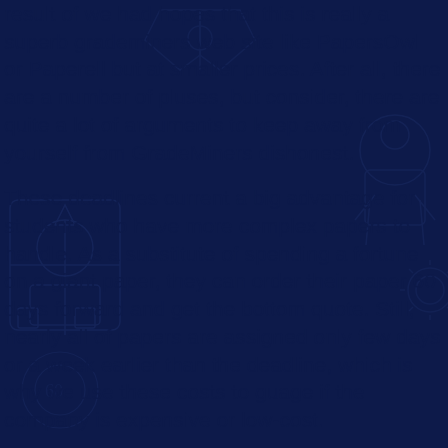result of we had hopes that this is really a superb grademiners web site like PapersOwl or Paperell but at smaller prices. After all, there are a number of pluses, but consider, there are quite a lot of arguments to keep away from yourself from GradeMiners dishonest.
These deadlines current a big advantage for students who have more complex papers to handle. As a substitute of spending a fortune on a giant paper, they can order their paper 60 days forward and get the bottom quote. Still, nearly all of papers are assigned only few days or a week earlier than the deadline, which is why we use these costs to guage if the company is expensive or low-cost.
Thoughts On Rapid Secrets In